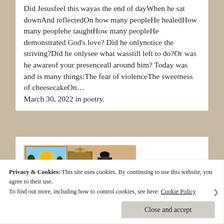Did Jesusfeel this wayas the end of dayWhen he sat downAnd reflectedOn how many peopleHe healedHow many peoplehe taughtHow many peopleHe demonstrated God's love? Did he onlynotice the striving?Did he onlysee what wasstill left to do?Or was he awareof your presenceall around him? Today was and is many things:The fear of violenceThe sweetness of cheesecakeOn…
March 30, 2022 in poetry.
[Figure (photo): Photo of a room interior with a colorful landscape painting on the wall showing a sunset/sunrise scene with trees; a person or figure visible at a desk or podium; another person visible in the foreground.]
Privacy & Cookies: This site uses cookies. By continuing to use this website, you agree to their use.
To find out more, including how to control cookies, see here: Cookie Policy
Close and accept